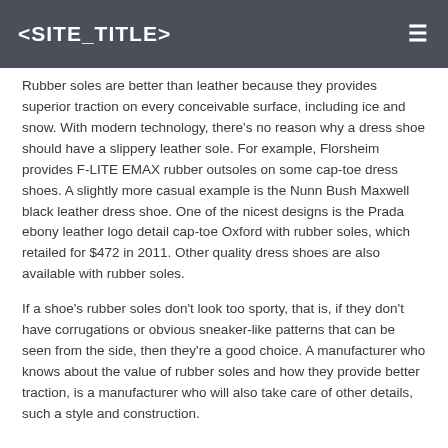<SITE_TITLE>
Rubber soles are better than leather because they provides superior traction on every conceivable surface, including ice and snow. With modern technology, there's no reason why a dress shoe should have a slippery leather sole. For example, Florsheim provides F-LITE EMAX rubber outsoles on some cap-toe dress shoes. A slightly more casual example is the Nunn Bush Maxwell black leather dress shoe. One of the nicest designs is the Prada ebony leather logo detail cap-toe Oxford with rubber soles, which retailed for $472 in 2011. Other quality dress shoes are also available with rubber soles.
If a shoe's rubber soles don't look too sporty, that is, if they don't have corrugations or obvious sneaker-like patterns that can be seen from the side, then they're a good choice. A manufacturer who knows about the value of rubber soles and how they provide better traction, is a manufacturer who will also take care of other details, such a style and construction.